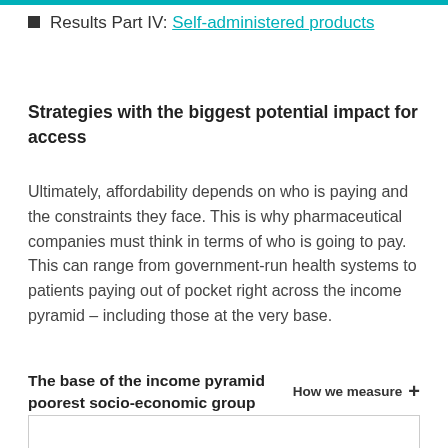Results Part IV: Self-administered products
Strategies with the biggest potential impact for access
Ultimately, affordability depends on who is paying and the constraints they face. This is why pharmaceutical companies must think in terms of who is going to pay. This can range from government-run health systems to patients paying out of pocket right across the income pyramid – including those at the very base.
The base of the income pyramid poorest socio-economic group How we measure +